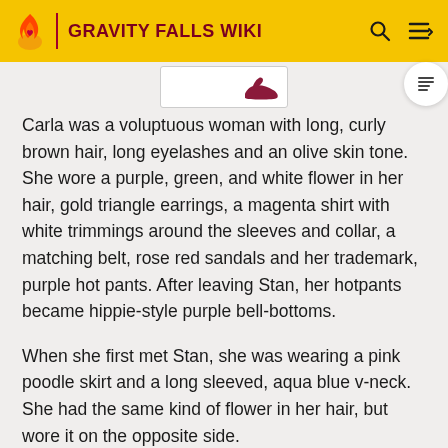GRAVITY FALLS WIKI
[Figure (illustration): Partial thumbnail image showing a character detail, partially cropped at top edge]
Carla was a voluptuous woman with long, curly brown hair, long eyelashes and an olive skin tone. She wore a purple, green, and white flower in her hair, gold triangle earrings, a magenta shirt with white trimmings around the sleeves and collar, a matching belt, rose red sandals and her trademark, purple hot pants. After leaving Stan, her hotpants became hippie-style purple bell-bottoms.
When she first met Stan, she was wearing a pink poodle skirt and a long sleeved, aqua blue v-neck. She had the same kind of flower in her hair, but wore it on the opposite side.